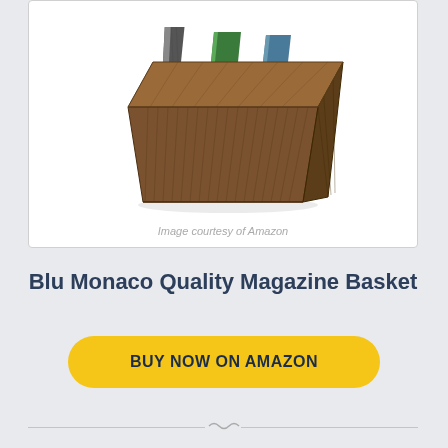[Figure (photo): A wooden bamboo-textured magazine basket/holder with magazines inside, shown at an angle on a white background.]
Image courtesy of Amazon
Blu Monaco Quality Magazine Basket
BUY NOW ON AMAZON